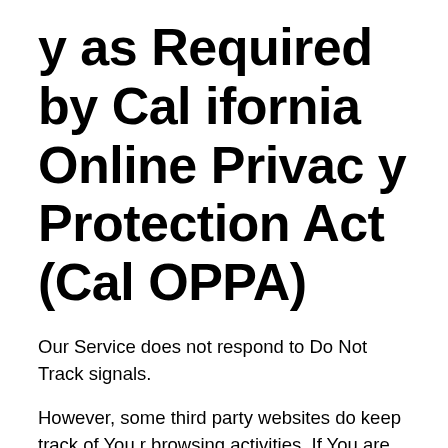y as Required by California Online Privacy Protection Act (CalOPPA)
Our Service does not respond to Do Not Track signals.
However, some third party websites do keep track of Your browsing activities. If You are visiting such websites, You can set Your preferences in Your web browser to inform websites that You do not want to be tracked. You can enable or disable DNT by visiting the preferences or setti